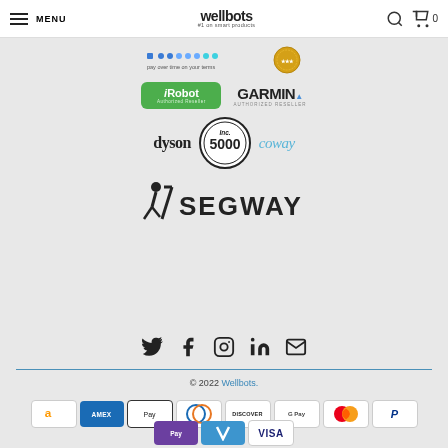MENU | wellbots #1 on smart products
[Figure (logo): Pay over time on your terms logos with dots pattern and gold seal]
[Figure (logo): iRobot Authorized Reseller badge and Garmin Authorized Reseller logo]
[Figure (logo): dyson logo, Inc 5000 circle badge, coway logo]
[Figure (logo): Segway logo with stylized figure]
[Figure (infographic): Social media icons: Twitter, Facebook, Instagram, LinkedIn, Email]
© 2022 Wellbots.
[Figure (infographic): Payment method logos: Amazon, Amex, Apple Pay, Diners Club, Discover, Google Pay, Mastercard, PayPal, Apple Pay variant, Venmo, Visa]